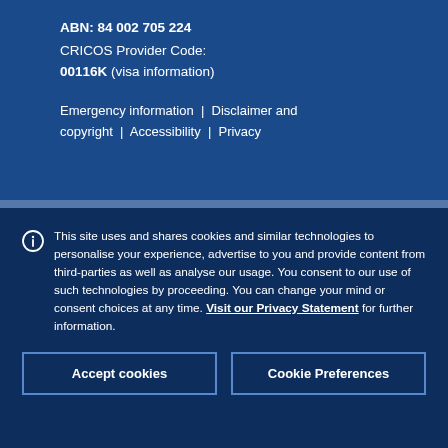ABN:  84 002 705 224
CRICOS Provider Code:
00116K (visa information)
Emergency information  |  Disclaimer and copyright  |  Accessibility  |  Privacy
This site uses and shares cookies and similar technologies to personalise your experience, advertise to you and provide content from third-parties as well as analyse our usage. You consent to our use of such technologies by proceeding. You can change your mind or consent choices at any time. Visit our Privacy Statement for further information.
Accept cookies
Cookie Preferences